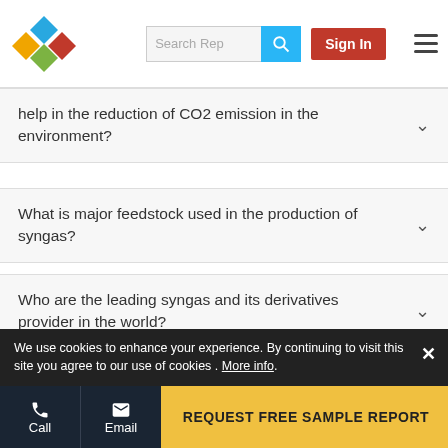Search Rep | Sign In
help in the reduction of CO2 emission in the environment?
What is major feedstock used in the production of syngas?
Who are the leading syngas and its derivatives provider in the world?
To speak to our analyst for a discussion on the above findings, click Speak to Analyst
We use cookies to enhance your experience. By continuing to visit this site you agree to our use of cookies . More info.
Call | Email | REQUEST FREE SAMPLE REPORT